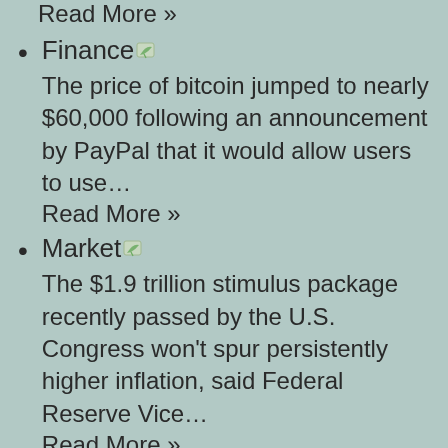Read More »
Finance
The price of bitcoin jumped to nearly $60,000 following an announcement by PayPal that it would allow users to use…
Read More »
Market
The $1.9 trillion stimulus package recently passed by the U.S. Congress won't spur persistently higher inflation, said Federal Reserve Vice…
Read More »
Finance
Fidelity has not yet…